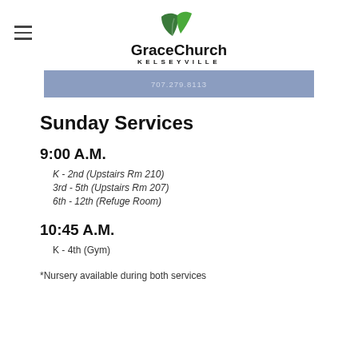GraceChurch KELSEYVILLE
707.279.8113
Sunday Services
9:00 A.M.
K - 2nd (Upstairs Rm 210)
3rd - 5th (Upstairs Rm 207)
6th - 12th (Refuge Room)
10:45 A.M.
K - 4th (Gym)
*Nursery available during both services